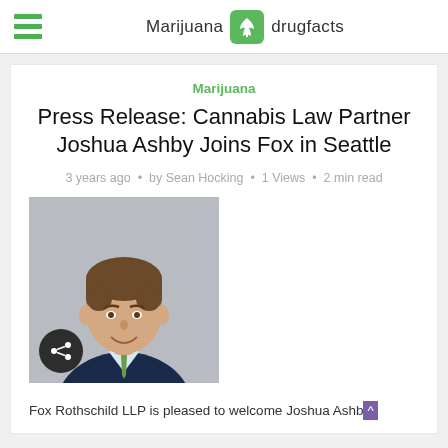Marijuana drugfacts
Marijuana
Press Release: Cannabis Law Partner Joshua Ashby Joins Fox in Seattle
3 years ago · by Sean Hocking · 1 Views · 2 min read
[Figure (photo): Headshot of Joshua Ashby, a man in a dark suit with a green tie, smiling, against a grey background. A share icon button is overlaid at the bottom left.]
Fox Rothschild LLP is pleased to welcome Joshua Ashby